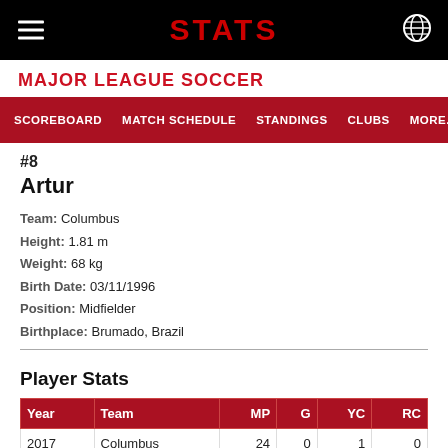STATS
MAJOR LEAGUE SOCCER
SCOREBOARD   MATCH SCHEDULE   STANDINGS   CLUBS   MORE...
#8
Artur
Team: Columbus
Height: 1.81 m
Weight: 68 kg
Birth Date: 03/11/1996
Position: Midfielder
Birthplace: Brumado, Brazil
Player Stats
| Year | Team | MP | G | YC | RC |
| --- | --- | --- | --- | --- | --- |
| 2017 | Columbus | 24 | 0 | 1 | 0 |